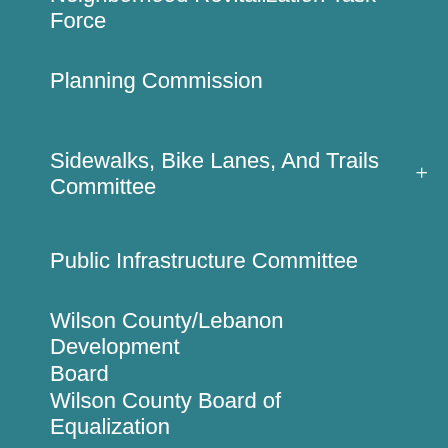Neighborhood Revitalization Task Force
Planning Commission
Sidewalks, Bike Lanes, And Trails Committee
Public Infrastructure Committee
Wilson County/Lebanon Development Board
Wilson County Board of Equalization
Zoning Committee
SP and Annexation Committee